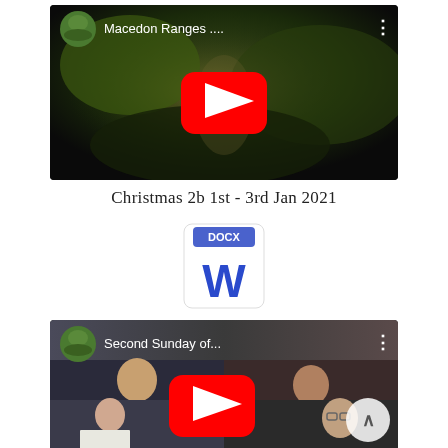[Figure (screenshot): YouTube video thumbnail for 'Macedon Ranges...' with play button, channel avatar, and dark nature background]
Christmas 2b 1st - 3rd Jan 2021
[Figure (screenshot): DOCX Word document file icon with blue W]
[Figure (screenshot): YouTube video thumbnail for 'Second Sunday of...' showing video call participants with play button and scroll-up arrow]